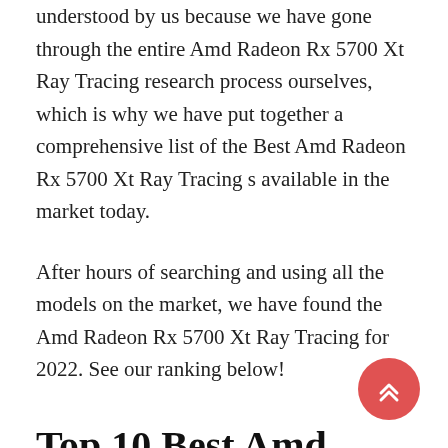understood by us because we have gone through the entire Amd Radeon Rx 5700 Xt Ray Tracing research process ourselves, which is why we have put together a comprehensive list of the Best Amd Radeon Rx 5700 Xt Ray Tracing s available in the market today.
After hours of searching and using all the models on the market, we have found the Amd Radeon Rx 5700 Xt Ray Tracing for 2022. See our ranking below!
Top 10 Best Amd Radeon Rx 5700 Xt Ray Tracing in 2022